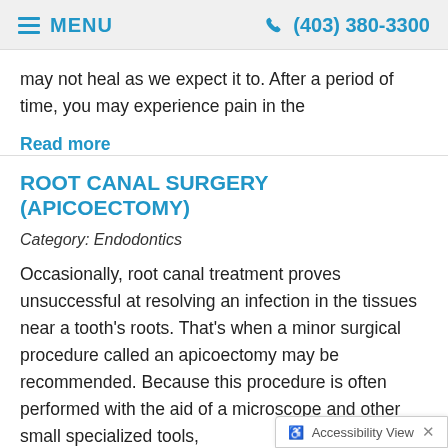MENU  (403) 380-3300
may not heal as we expect it to. After a period of time, you may experience pain in the
Read more
ROOT CANAL SURGERY (APICOECTOMY)
Category: Endodontics
Occasionally, root canal treatment proves unsuccessful at resolving an infection in the tissues near a tooth's roots. That's when a minor surgical procedure called an apicoectomy may be recommended. Because this procedure is often performed with the aid of a microscope and other small specialized tools,